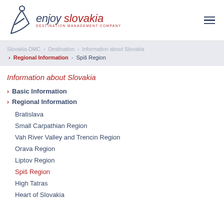enjoy slovakia — DESTINATION MANAGEMENT COMPANY
Slovakia-DMC > Destination > Information about Slovakia > Regional Information > Spiš Region
Information about Slovakia
Basic Information
Regional Information
Bratislava
Small Carpathian Region
Vah River Valley and Trencin Region
Orava Region
Liptov Region
Spiš Region
High Tatras
Heart of Slovakia